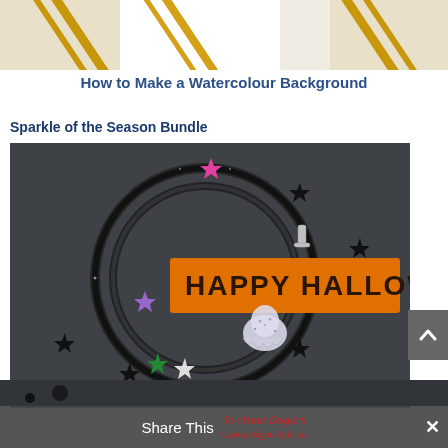[Figure (photo): Top portion of a crafting photo showing paper/card with gold diagonal stripes on white background, partially cropped]
How to Make a Watercolour Background
Sparkle of the Season Bundle
[Figure (photo): Close-up photo of a sparkly black glitter cord/ribbon arranged in a circle on dark background, with colorful star sequins (pink, purple, green, black) and a rhinestone ghost charm, with an orange tag reading HAPPY HALLOW (Halloween tag partially visible)]
Share This  Jo-Anne Rogers  www.designwithjo.ca